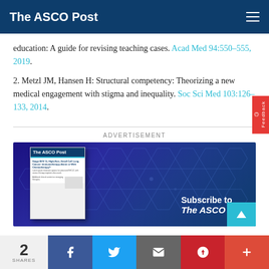The ASCO Post
education: A guide for revising teaching cases. Acad Med 94:550–555, 2019.
2. Metzl JM, Hansen H: Structural competency: Theorizing a new medical engagement with stigma and inequality. Soc Sci Med 103:126–133, 2014.
[Figure (other): Advertisement banner for The ASCO Post subscription with magazine cover image and 'Subscribe to The ASCO Post' text on dark blue hexagonal background]
2 SHARES | Facebook | Twitter | Email | Pinterest | More